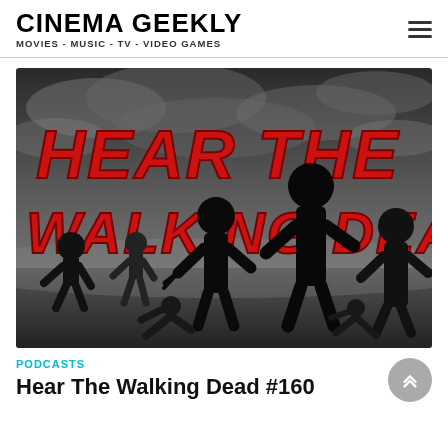CINEMA GEEKLY — MOVIES - MUSIC - TV - VIDEO GAMES
[Figure (illustration): Promotional artwork for 'Hear The Walking Dead' podcast — red horror-style text reading HEAR THE WALKING DEAD over a dark stormy sky with black silhouettes of zombies walking toward the viewer.]
PODCASTS
Hear The Walking Dead #160